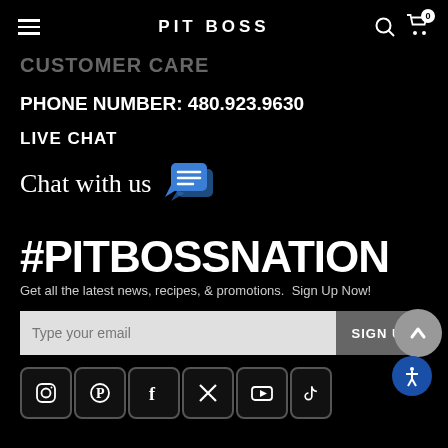PIT BOSS
CUSTOMER CARE
PHONE NUMBER: 480.923.9630
LIVE CHAT
Chat with us
#PITBOSSNATION
Get all the latest news, recipes, & promotions.  Sign Up Now!
Type your email
[Figure (other): Social media icons row: Instagram, Pinterest, Facebook, Twitter/X, YouTube, TikTok]
[Figure (other): Blue chat bubble icon with speech lines]
[Figure (other): Grey scroll-to-top button with upward arrow, and blue accessibility icon]